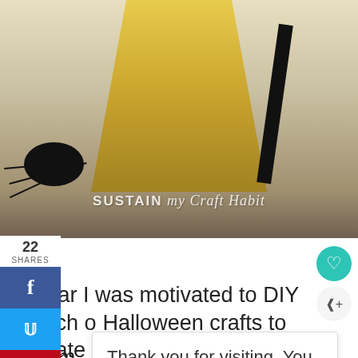[Figure (photo): Halloween craft photo showing straw/broom bristles with black ribbon and spider decorations on a light wood background. Watermark reads 'SUSTAIN my Craft Habit' in white text.]
22
SHARES
this year I was motivated to DIY a bunch of Halloween crafts to decorate my 3-tiered tray.
It's com
Thank you for visiting. You can now buy me a coffee!
burlap h
WHAT'S NEXT → Adorable Clothespin...
Sla